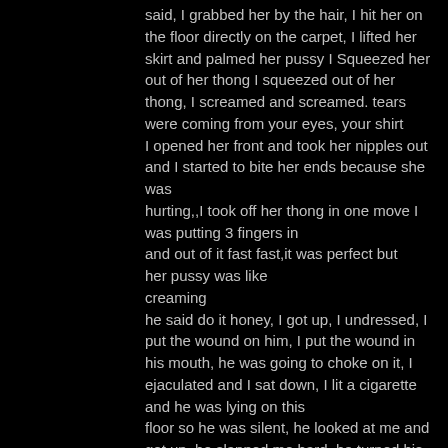said, I grabbed her by the hair, I hit her on the floor directly on the carpet, I lifted her skirt and palmed her pussy I Squeezed her out of her thong I squeezed out of her thong, I screamed and screamed. tears were coming from your eyes, your shirt
I opened her front and took her nipples out and I started to bite her ends because she was
hurting,,I took off her thong in one move I was putting 3 fingers in
and out of it fast fast,it was perfect but
her pussy was like
creaming
he said do it honey, I got up, I undressed, I put the wound on him, I put the wound in his mouth, he was going to choke on it, I
ejaculated and I sat down, I lit a cigarette and he was lying on this
floor so he was silent, he looked at me and got up, he slapped me hard, he turned his back and bent a little, if I could eat He said eat like a shit
man, I got up, I messed it up, I started on the chair, fingering His ass hole was moaning with pleasure, when it was well watered, I put my wound on
his ass . He enjoyed it so much that he called me the other day, I'm so bad, find a way, let me shout for 5 minutes, I 'll slide to him again as soon as possible.
[Figure (other): Social share buttons: Facebook, Twitter, Email, Share (plus icon)]